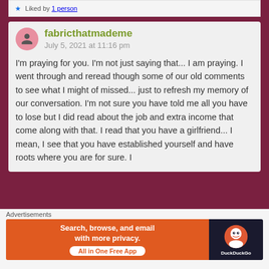Liked by 1 person
fabricthatmademe
July 5, 2021 at 11:16 pm
I'm praying for you. I'm not just saying that... I am praying. I went through and reread though some of our old comments to see what I might of missed... just to refresh my memory of our conversation. I'm not sure you have told me all you have to lose but I did read about the job and extra income that come along with that. I read that you have a girlfriend... I mean, I see that you have established yourself and have roots where you are for sure. I
Advertisements
[Figure (screenshot): DuckDuckGo advertisement banner: 'Search, browse, and email with more privacy. All in One Free App' with DuckDuckGo logo on dark background.]